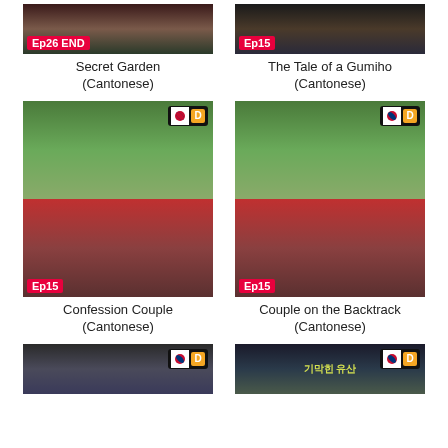[Figure (photo): Secret Garden TV show thumbnail with Ep26 END badge]
Secret Garden
(Cantonese)
[Figure (photo): The Tale of a Gumiho TV show thumbnail with Ep15 badge]
The Tale of a Gumiho
(Cantonese)
[Figure (photo): Confession Couple TV show thumbnail with Korean flag, D badge, and Ep15 badge]
Confession Couple
(Cantonese)
[Figure (photo): Couple on the Backtrack TV show thumbnail with Korean flag, D badge, and Ep15 badge]
Couple on the Backtrack
(Cantonese)
[Figure (photo): Korean drama thumbnail with Korean flag and D badge (row 3 left)]
[Figure (photo): Korean drama thumbnail showing 기막힌 유산 with Korean flag and D badge (row 3 right)]